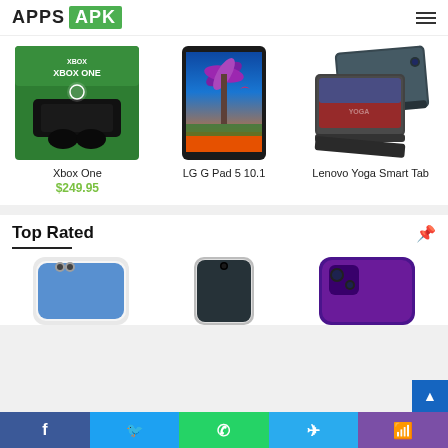APPS APK
[Figure (photo): Xbox One product box image - green box with Xbox One console and controller]
Xbox One
$249.95
[Figure (photo): LG G Pad 5 10.1 tablet showing colorful tropical wallpaper]
LG G Pad 5 10.1
[Figure (photo): Lenovo Yoga Smart Tab - two tablets shown from behind in dark grey]
Lenovo Yoga Smart Tab
Top Rated
[Figure (photo): Smartphone with dual camera - white/silver color, partially cropped]
[Figure (photo): Smartphone with hole-punch camera - silver/black, partially cropped]
[Figure (photo): Smartphone - dark purple/black color, partially cropped]